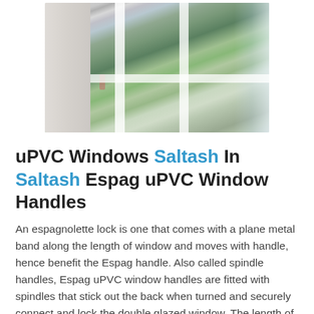[Figure (photo): A uPVC window open indoors showing a garden outside with green lawn and trees. A child figure is visible in the garden. The window has white frames and a handle visible on the left panel.]
uPVC Windows Saltash In Saltash Espag uPVC Window Handles
An espagnolette lock is one that comes with a plane metal band along the length of window and moves with handle, hence benefit the Espag handle. Also called spindle handles, Espag uPVC window handles are fitted with spindles that stick out the back when turned and securely connect and lock the double glazed window. The length of one